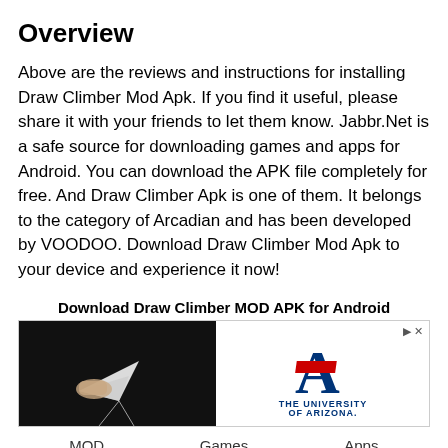Overview
Above are the reviews and instructions for installing Draw Climber Mod Apk. If you find it useful, please share it with your friends to let them know. Jabbr.Net is a safe source for downloading games and apps for Android. You can download the APK file completely for free. And Draw Climber Apk is one of them. It belongs to the category of Arcadian and has been developed by VOODOO. Download Draw Climber Mod Apk to your device and experience it now!
Download Draw Climber MOD APK for Android
[Figure (screenshot): Advertisement block showing a video thumbnail of a paper airplane trick on the left, and The University of Arizona logo on the right with navigation controls.]
MOD    Games    Apps